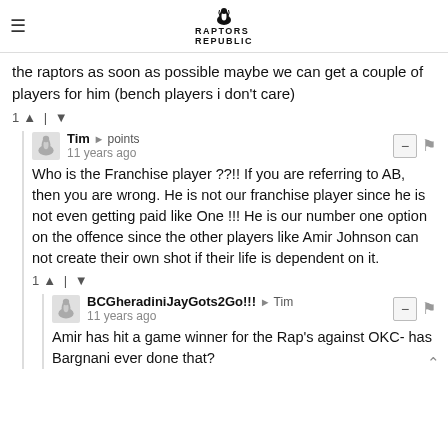≡  RAPTORS REPUBLIC
the raptors as soon as possible maybe we can get a couple of players for him (bench players i don't care)
1 ↑ | ↓
Tim → points
11 years ago
Who is the Franchise player ??!! If you are referring to AB, then you are wrong. He is not our franchise player since he is not even getting paid like One !!! He is our number one option on the offence since the other players like Amir Johnson can not create their own shot if their life is dependent on it.
1 ↑ | ↓
BCGheradiniJayGots2Go!!! → Tim
11 years ago
Amir has hit a game winner for the Rap's against OKC- has Bargnani ever done that?